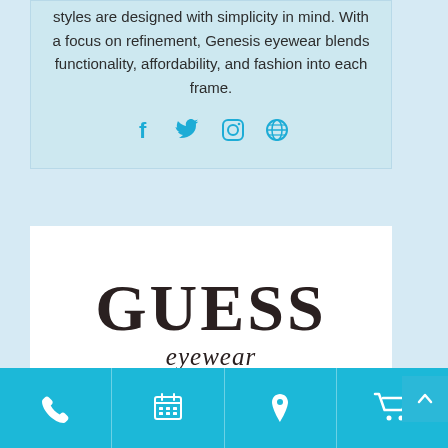styles are designed with simplicity in mind. With a focus on refinement, Genesis eyewear blends functionality, affordability, and fashion into each frame.
[Figure (infographic): Social media icons: Facebook (f), Twitter (bird), Instagram (camera), Globe/website icon, all in cyan/teal color]
[Figure (logo): GUESS eyewear logo — GUESS in large bold serif font, eyewear in italic script below, black on white background]
[Figure (infographic): Bottom navigation bar with four icons on cyan background: phone, calendar/schedule, location pin, shopping cart]